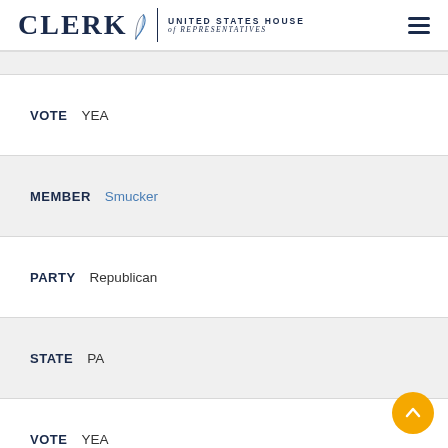CLERK United States House of Representatives
VOTE YEA
MEMBER Smucker
PARTY Republican
STATE PA
VOTE YEA
MEMBER Soto
PARTY Democratic